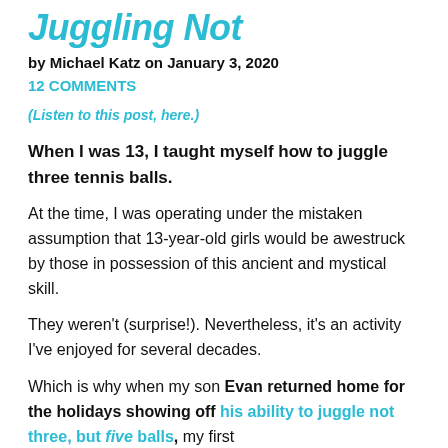Juggling Not
by Michael Katz on January 3, 2020
12 COMMENTS
(Listen to this post, here.)
When I was 13, I taught myself how to juggle three tennis balls.
At the time, I was operating under the mistaken assumption that 13-year-old girls would be awestruck by those in possession of this ancient and mystical skill.
They weren't (surprise!). Nevertheless, it's an activity I've enjoyed for several decades.
Which is why when my son Evan returned home for the holidays showing off his ability to juggle not three, but five balls, my first thought was, "Maybe this will work with the 13-year-old..."